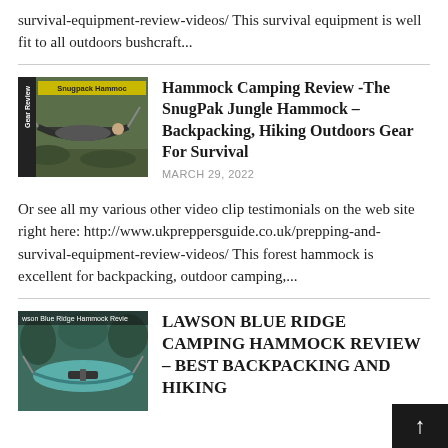survival-equipment-review-videos/ This survival equipment is well fit to all outdoors bushcraft...
[Figure (photo): Thumbnail image of SnugPack Hammock review video showing a person lying in a dark hammock outdoors with yellow label 'Snugpack Hammoc' and vertical 'Gear Review' text on left side]
Hammock Camping Review -The SnugPak Jungle Hammock – Backpacking, Hiking Outdoors Gear For Survival
MARCH 29, 2022
Or see all my various other video clip testimonials on the web site right here: http://www.ukpreppersguide.co.uk/prepping-and-survival-equipment-review-videos/ This forest hammock is excellent for backpacking, outdoor camping,...
[Figure (photo): Thumbnail image of Lawson Blue Ridge Hammock review video showing a teal/green hammock outdoors with label 'Lawson Blue Ridge Hammock Revie']
LAWSON BLUE RIDGE CAMPING HAMMOCK REVIEW – best backpacking and hiking...